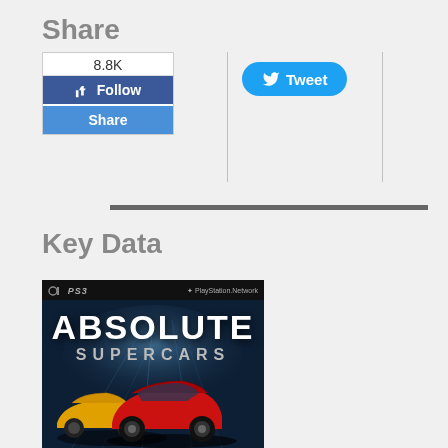Share
[Figure (screenshot): Social media share widget showing Facebook follow/share buttons with 8.8K count, and a Twitter Tweet button, separated by vertical dividers]
[Figure (photo): PS3 game cover for Absolute Supercars showing the game title in large white text over a dark blue background with sports cars (red and yellow) at the bottom, and PlayStation Network logo in the top bar]
Key Data